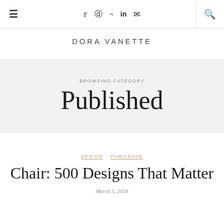≡  Twitter Instagram Pinterest LinkedIn Mail  🔍
DORA VANETTE
BROWSING CATEGORY
Published
DESIGN   PUBLISHED
Chair: 500 Designs That Matter
March 5, 2018